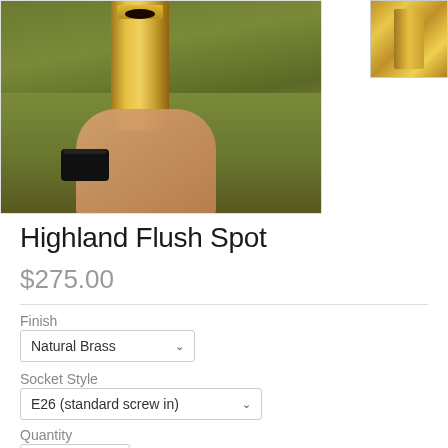[Figure (photo): A hand holding a brass cylindrical flush spot light fixture outdoors over grass with fallen leaves. A small thumbnail image of the fixture is visible in the upper right corner.]
Highland Flush Spot
$275.00
Finish
Natural Brass
Socket Style
E26 (standard screw in)
Quantity
1